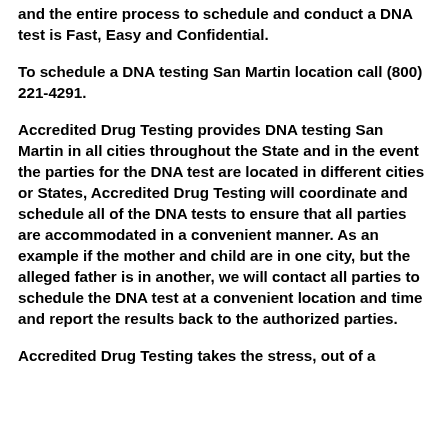and the entire process to schedule and conduct a DNA test is Fast, Easy and Confidential.
To schedule a DNA testing San Martin location call (800) 221-4291.
Accredited Drug Testing provides DNA testing San Martin in all cities throughout the State and in the event the parties for the DNA test are located in different cities or States, Accredited Drug Testing will coordinate and schedule all of the DNA tests to ensure that all parties are accommodated in a convenient manner. As an example if the mother and child are in one city, but the alleged father is in another, we will contact all parties to schedule the DNA test at a convenient location and time and report the results back to the authorized parties.
Accredited Drug Testing takes the stress, out of a